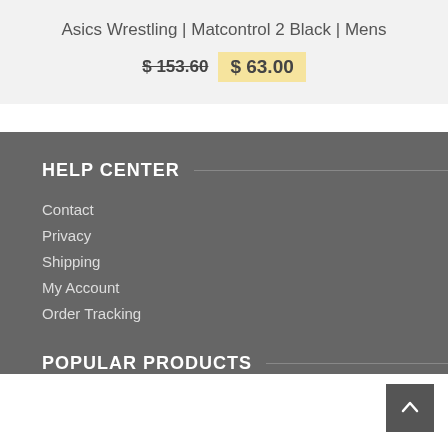Asics Wrestling | Matcontrol 2 Black | Mens
$ 153.60  $ 63.00
HELP CENTER
Contact
Privacy
Shipping
My Account
Order Tracking
POPULAR PRODUCTS